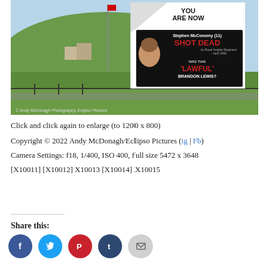[Figure (photo): Photograph of a large mural/banner on a white wall reading 'YOU ARE NOW' and 'Stephen McConomy (11) SHOT DEAD by Royal Anglian Regiment – April 1982. Was this LAWFUL BRANDON LEWIS?' with a portrait photo on a black banner. Flagpole and green hillside in background. Credit: Andy McDonagh Photography, Eclipso Pictures.]
Click and click again to enlarge (to 1200 x 800)
Copyright © 2022 Andy McDonagh/Eclipso Pictures (ig | Fb)
Camera Settings: f18, 1/400, ISO 400, full size 5472 x 3648
[X10011] [X10012] X10013 [X10014] X10015
Share this: